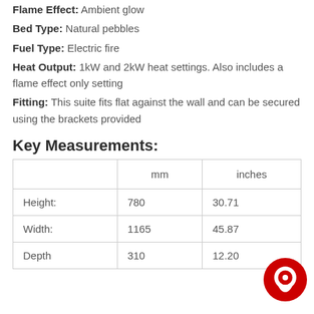Flame Effect: Ambient glow
Bed Type: Natural pebbles
Fuel Type: Electric fire
Heat Output: 1kW and 2kW heat settings. Also includes a flame effect only setting
Fitting: This suite fits flat against the wall and can be secured using the brackets provided
Key Measurements:
|  | mm | inches |
| --- | --- | --- |
| Height: | 780 | 30.71 |
| Width: | 1165 | 45.87 |
| Depth | 310 | 12.20 |